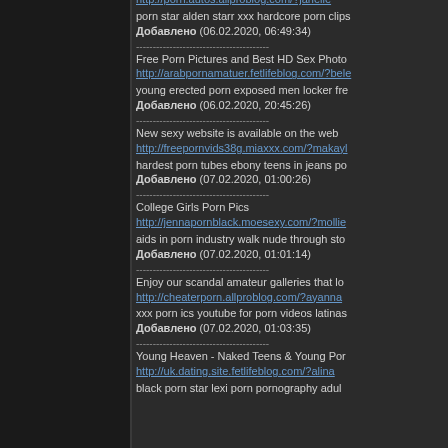http://porn.autos.allproblog.com/?janelle
porn star alden starr xxx hardcore porn clips
Добавлено (06.02.2020, 06:49:34)
----------------------------------------
Free Porn Pictures and Best HD Sex Photo
http://arabpornamatuer.fetlifeblog.com/?bele
young erected porn exposed men locker fre
Добавлено (06.02.2020, 20:45:26)
----------------------------------------
New sexy website is available on the web
http://freepornvids38g.miaxxx.com/?makayl
hardest porn tubes ebony teens in jeans po
Добавлено (07.02.2020, 01:00:26)
----------------------------------------
College Girls Porn Pics
http://jennapornblack.moesexy.com/?mollie
aids in porn industry walk nude through sto
Добавлено (07.02.2020, 01:01:14)
----------------------------------------
Enjoy our scandal amateur galleries that lo
http://cheaterporn.allproblog.com/?ayanna
xxx porn ics youtube for porn videos latinas
Добавлено (07.02.2020, 01:03:35)
----------------------------------------
Young Heaven - Naked Teens & Young Por
http://uk.dating.site.fetlifeblog.com/?alina
black porn star lexi porn pornography adul